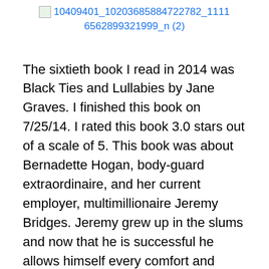[Figure (other): Broken image placeholder link reading: 10409401_10203685884722782_11116562899321999_n (2)]
The sixtieth book I read in 2014 was Black Ties and Lullabies by Jane Graves. I finished this book on 7/25/14. I rated this book 3.0 stars out of a scale of 5. This book was about Bernadette Hogan, body-guard extraordinaire, and her current employer, multimillionaire Jeremy Bridges. Jeremy grew up in the slums and now that he is successful he allows himself every comfort and luxury possible. Bernadette on the other hand scrimps and saves